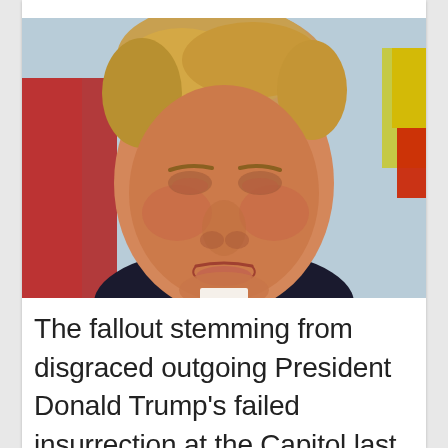[Figure (photo): Close-up photograph of Donald Trump with a pouty/frowning expression, light blue background, wearing a dark suit. A red and yellow element visible in the top-right corner.]
The fallout stemming from disgraced outgoing President Donald Trump's failed insurrection at the Capitol last week continued on Wednesday when New York City